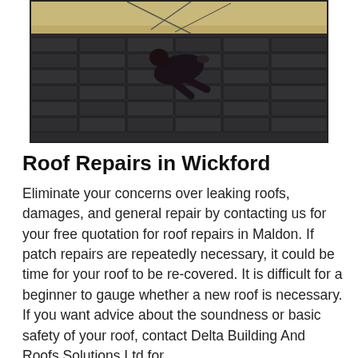[Figure (photo): A worker in dark clothing crouching on a dark roof, installing or repairing roof shingles. The shingles are dark grey/black tiles laid in rows. Sandy/light coloured background visible at the top.]
Roof Repairs in Wickford
Eliminate your concerns over leaking roofs, damages, and general repair by contacting us for your free quotation for roof repairs in Maldon. If patch repairs are repeatedly necessary, it could be time for your roof to be re-covered. It is difficult for a beginner to gauge whether a new roof is necessary. If you want advice about the soundness or basic safety of your roof, contact Delta Building And Roofs Solutions Ltd for